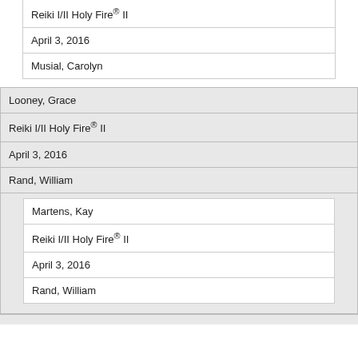| Reiki I/II Holy Fire® II |
| April 3, 2016 |
| Musial, Carolyn |
| Looney, Grace |
| Reiki I/II Holy Fire® II |
| April 3, 2016 |
| Rand, William |
| Martens, Kay |
| Reiki I/II Holy Fire® II |
| April 3, 2016 |
| Rand, William |